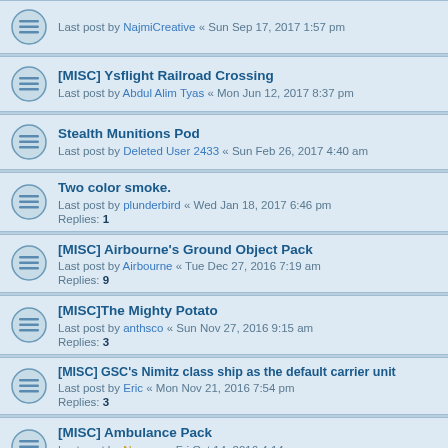Last post by NajmiCreative « Sun Sep 17, 2017 1:57 pm
[MISC] Ysflight Railroad Crossing
Last post by Abdul Alim Tyas « Mon Jun 12, 2017 8:37 pm
Stealth Munitions Pod
Last post by Deleted User 2433 « Sun Feb 26, 2017 4:40 am
Two color smoke.
Last post by plunderbird « Wed Jan 18, 2017 6:46 pm
Replies: 1
[MISC] Airbourne's Ground Object Pack
Last post by Airbourne « Tue Dec 27, 2016 7:19 am
Replies: 9
[MISC]The Mighty Potato
Last post by anthsco « Sun Nov 27, 2016 9:15 am
Replies: 3
[MISC] GSC's Nimitz class ship as the default carrier unit
Last post by Eric « Mon Nov 21, 2016 7:54 pm
Replies: 3
[MISC] Ambulance Pack
Last post by Neocon « Fri Oct 14, 2016 4:14 am
Replies: 5
[MISC] Airshow Cloud
Last post by u2fly « Sun Oct 09, 2016 1:52 pm
[MISC] Flying skin of TF58's Mk82 Snake eye
Last post by Dragon_Mech « Fri Sep 16, 2016 7:25 am
Releases from YSF Korea...